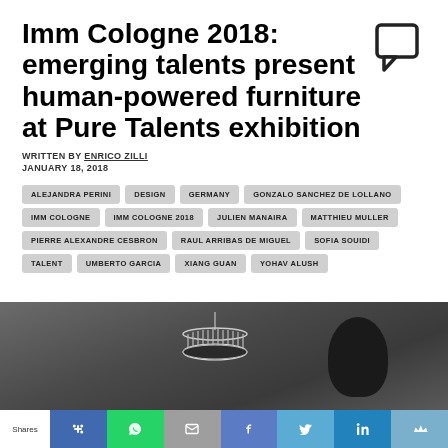Imm Cologne 2018: emerging talents present human-powered furniture at Pure Talents exhibition
WRITTEN BY ENRICO ZILLI
JANUARY 18, 2018
ALEJANDRA PERINI
DESIGN
GERMANY
GONZALO SANCHEZ DE LOLLANO
IMM COLOGNE
IMM COLOGNE 2018
JULIEN MANAIRA
MATTHIEU MULLER
PIERRE ALEXANDRE CESBRON
RAUL ARRIBAS DE MIGUEL
SOFIA SOUIDI
TALENT
UMBERTO GARCIA
XIANG GUAN
YOHAV ALUSH
[Figure (photo): Dark interior photo showing a circular chandelier/light fixture hanging from ceiling, with a dark rounded shape (possibly a head/lamp) visible to the right side, against a grey background]
Shares [social share buttons: Pinterest, WhatsApp, Email, Facebook, Twitter, LinkedIn, Flipboard]